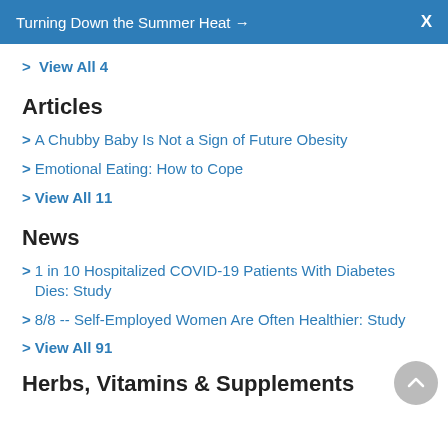Turning Down the Summer Heat →   X
> View All 4
Articles
> A Chubby Baby Is Not a Sign of Future Obesity
> Emotional Eating: How to Cope
> View All 11
News
> 1 in 10 Hospitalized COVID-19 Patients With Diabetes Dies: Study
> 8/8 -- Self-Employed Women Are Often Healthier: Study
> View All 91
Herbs, Vitamins & Supplements